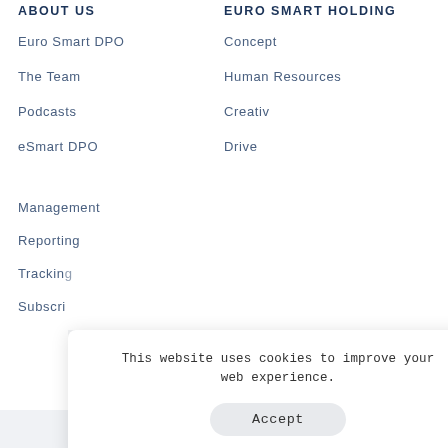ABOUT US
EURO SMART HOLDING
Euro Smart DPO
Concept
The Team
Human Resources
Podcasts
Creativ
eSmart DPO
Drive
Management
Reporting
Tracking
Subscri
This website uses cookies to improve your web experience.
Accept